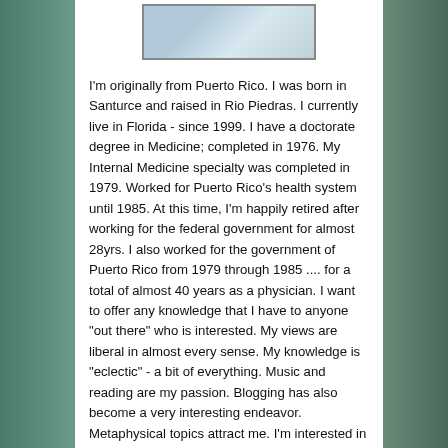[Figure (photo): A small cropped photo thumbnail of a person at the top of a white content panel, with a scenic beach/rocky coastal background visible on the sides.]
I'm originally from Puerto Rico. I was born in Santurce and raised in Rio Piedras. I currently live in Florida - since 1999. I have a doctorate degree in Medicine; completed in 1976. My Internal Medicine specialty was completed in 1979. Worked for Puerto Rico's health system until 1985. At this time, I'm happily retired after working for the federal government for almost 28yrs. I also worked for the government of Puerto Rico from 1979 through 1985 .... for a total of almost 40 years as a physician. I want to offer any knowledge that I have to anyone "out there" who is interested. My views are liberal in almost every sense. My knowledge is "eclectic" - a bit of everything. Music and reading are my passion. Blogging has also become a very interesting endeavor. Metaphysical topics attract me. I'm interested in news - reporting human issues like injustice, discrimination and abuse - the "wrongly" affected. My intention is to bring this knowledge to an understandable level and to help anyone in need. I'm open to questions and will answer them to the best of my ability. Currently working on an enterprise whose main mission will be to bring peoples of all walks of life together. To be one .... since we ALL are ONE!! The future looks bright and promising!!!